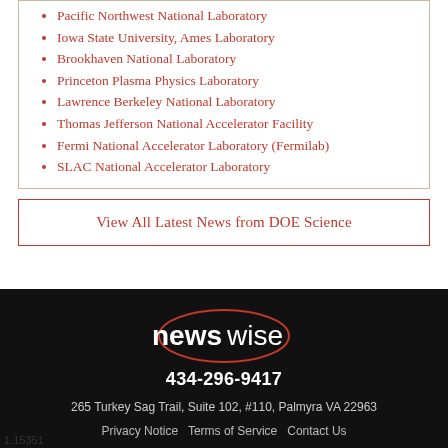Pacific Northwest National Laboratory
Iowa State University, Ames Laboratory
Brookhaven National Laboratory
Princeton Plasma Physics Laboratory
Lawrence Berkeley National Laboratory
Thomas Jefferson National Accelerator Facility
Fermi National Accelerator Laboratory (Fermilab)
SLAC National Accelerator Laboratory
View All Latest News from DOE Science
[Figure (logo): Newswise logo — 'news' in bold white and 'wise' in regular white inside an oval outline, on black background]
434-296-9417
265 Turkey Sag Trail, Suite 102, #110, Palmyra VA 22963
Privacy Notice   Terms of Service   Contact Us
1.15351